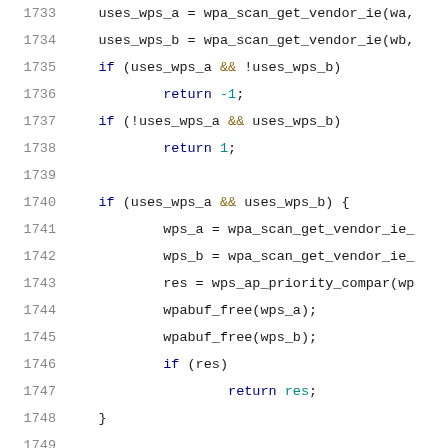[Figure (screenshot): Source code listing showing lines 1733-1754 of a C/C++ file, with syntax highlighting. Line numbers in gray on left, keywords in dark blue, operators in gold/olive, return values in teal, comments in red.]